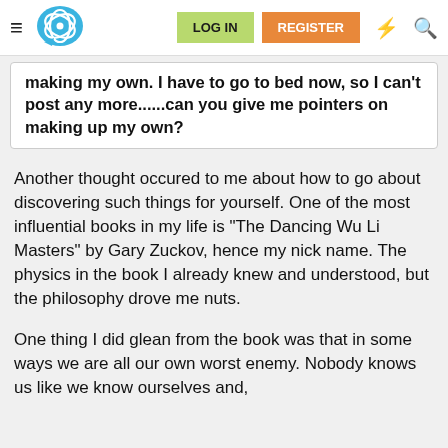[Figure (screenshot): Website navigation bar with hamburger menu, atom/brain logo, LOG IN button (green), REGISTER button (orange), lightning bolt icon, and search icon]
making my own. I have to go to bed now, so I can't post any more......can you give me pointers on making up my own?
Another thought occured to me about how to go about discovering such things for yourself. One of the most influential books in my life is "The Dancing Wu Li Masters" by Gary Zuckov, hence my nick name. The physics in the book I already knew and understood, but the philosophy drove me nuts.
One thing I did glean from the book was that in some ways we are all our own worst enemy. Nobody knows us like we know ourselves and,